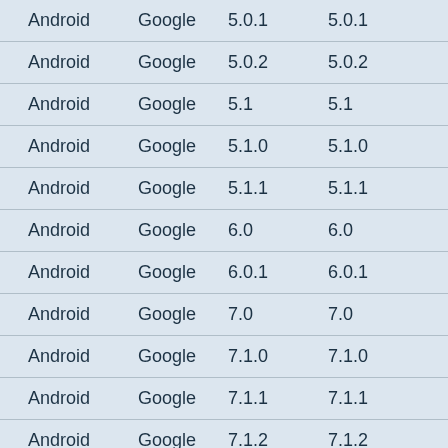| Android | Google | 5.0.1 | 5.0.1 |
| Android | Google | 5.0.2 | 5.0.2 |
| Android | Google | 5.1 | 5.1 |
| Android | Google | 5.1.0 | 5.1.0 |
| Android | Google | 5.1.1 | 5.1.1 |
| Android | Google | 6.0 | 6.0 |
| Android | Google | 6.0.1 | 6.0.1 |
| Android | Google | 7.0 | 7.0 |
| Android | Google | 7.1.0 | 7.1.0 |
| Android | Google | 7.1.1 | 7.1.1 |
| Android | Google | 7.1.2 | 7.1.2 |